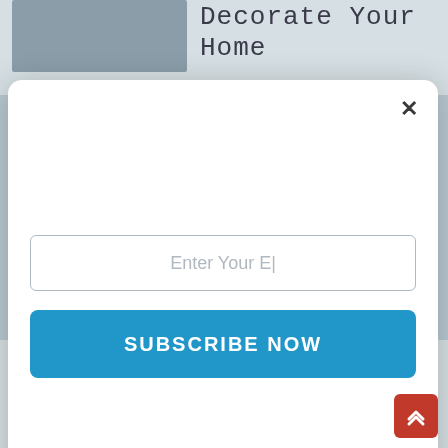[Figure (screenshot): Website article page partially visible behind a modal popup. Top shows article title 'Decorate Your Home' and thumbnail image. Bottom shows article thumbnail, byline, and text snippet about bedroom decoration.]
[Figure (screenshot): Modal popup dialog with a close (X) button, email input field with placeholder 'Enter Your E|', and a blue 'SUBSCRIBE NOW' button.]
Enter Your E|
SUBSCRIBE NOW
Larsen · 0 Comments
Image source via Google The bedroom should be the most important room in your house. Ideally, it should be your sanctuary, and allow you to get the...